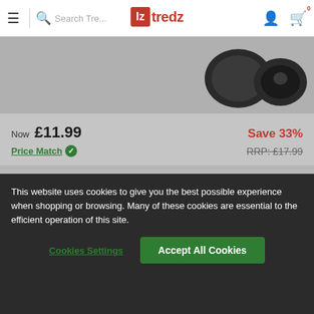tredz — navigation bar with menu, search, logo, user icon, cart (0)
[Figure (photo): Product image thumbnails (two dark circular objects) visible at top-right of product image area]
Now £11.99 Save 33% Price Match ✓ RRP: £17.99
Size
Rear
Colour
This website uses cookies to give you the best possible experience when shopping or browsing. Many of these cookies are essential to the efficient operation of this site.
Cookies Settings
Accept All Cookies